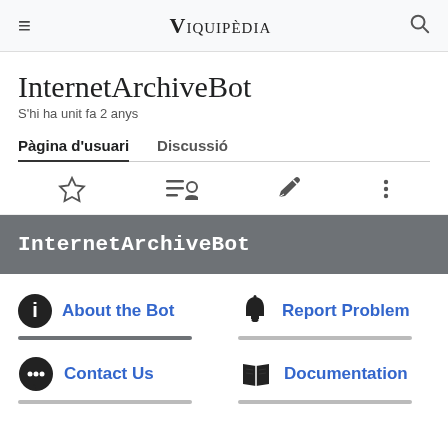≡  VIQUIPÈDIA  🔍
InternetArchiveBot
S'hi ha unit fa 2 anys
Pàgina d'usuari   Discussió
[Figure (screenshot): Toolbar with star, list/person, pencil edit, and three-dots icons]
InternetArchiveBot
About the Bot
Report Problem
Contact Us
Documentation